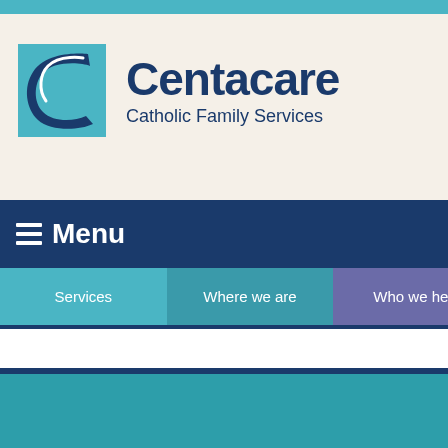[Figure (logo): Centacare Catholic Family Services logo with teal square and stylized C letter mark, followed by 'Centacare' in dark blue bold text and 'Catholic Family Services' subtitle]
Menu
Services
Where we are
Who we help